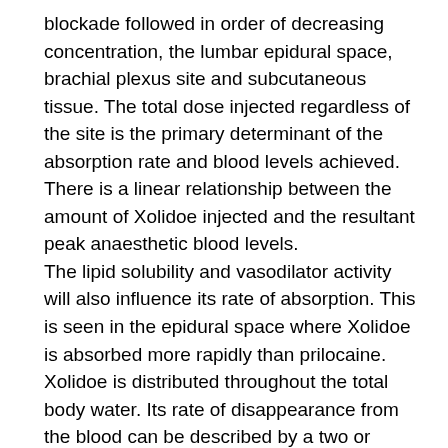blockade followed in order of decreasing concentration, the lumbar epidural space, brachial plexus site and subcutaneous tissue. The total dose injected regardless of the site is the primary determinant of the absorption rate and blood levels achieved. There is a linear relationship between the amount of Xolidoe injected and the resultant peak anaesthetic blood levels. The lipid solubility and vasodilator activity will also influence its rate of absorption. This is seen in the epidural space where Xolidoe is absorbed more rapidly than prilocaine. Xolidoe is distributed throughout the total body water. Its rate of disappearance from the blood can be described by a two or three compartment model. There is a rapid disappearance (alpha)